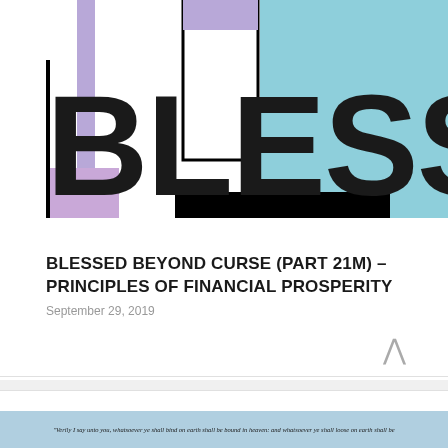[Figure (illustration): Abstract geometric logo spelling BLESSED with colored blocks — purple, light blue, black, and white rectangles arranged around large bold letters]
BLESSED BEYOND CURSE (PART 21M) – PRINCIPLES OF FINANCIAL PROSPERITY
September 29, 2019
[Figure (photo): Partially visible image at bottom of page with italic scripture text overlay]